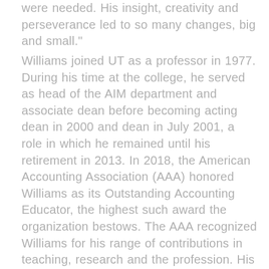were needed. His insight, creativity and perseverance led to so many changes, big and small."
Williams joined UT as a professor in 1977. During his time at the college, he served as head of the AIM department and associate dean before becoming acting dean in 2000 and dean in July 2001, a role in which he remained until his retirement in 2013. In 2018, the American Accounting Association (AAA) honored Williams as its Outstanding Accounting Educator, the highest such award the organization bestows. The AAA recognized Williams for his range of contributions in teaching, research and the profession. His achievements include authoring and co-authoring more than 125 articles, books, research monographs and other publications on issues of corporate financial reporting and accounting and business education; being AAA's president, chair of the board of the Association to Advance Collegiate Schools of Business International and national president of Beta Alpha Psi. After retiring to Nashville, he became affiliated with Belmont University, where he served as interim dean of the Massey College of Business in 2019-20. He